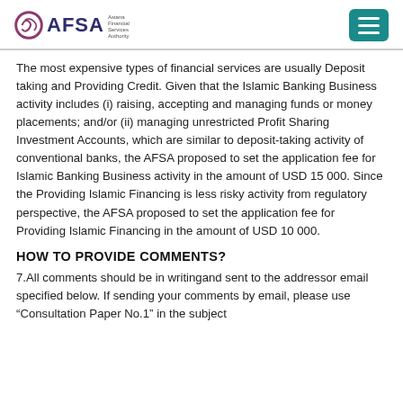AFSA
The most expensive types of financial services are usually Deposit taking and Providing Credit. Given that the Islamic Banking Business activity includes (i) raising, accepting and managing funds or money placements; and/or (ii) managing unrestricted Profit Sharing Investment Accounts, which are similar to deposit-taking activity of conventional banks, the AFSA proposed to set the application fee for Islamic Banking Business activity in the amount of USD 15 000. Since the Providing Islamic Financing is less risky activity from regulatory perspective, the AFSA proposed to set the application fee for Providing Islamic Financing in the amount of USD 10 000.
HOW TO PROVIDE COMMENTS?
7.All comments should be in writingand sent to the addressor email specified below. If sending your comments by email, please use “Consultation Paper No.1” in the subject